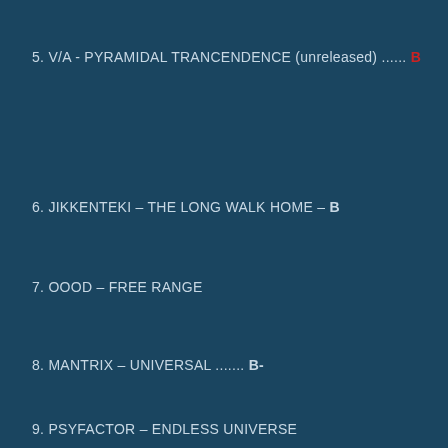5. V/A - PYRAMIDAL TRANCENDENCE (unreleased) ...... B
6. JIKKENTEKI - THE LONG WALK HOME - B
7. OOOD - FREE RANGE
8. MANTRIX - UNIVERSAL ....... B-
9. PSYFACTOR - ENDLESS UNIVERSE